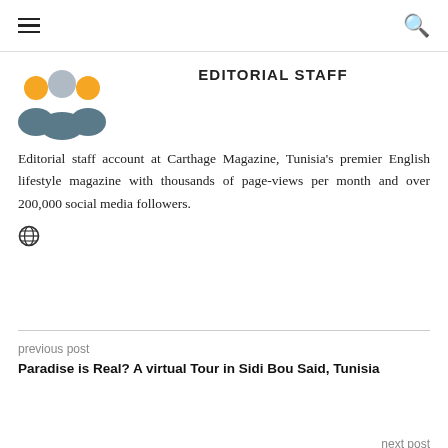☰  🔍
EDITORIAL STAFF
[Figure (illustration): Group of three people icon: two orange circles as heads on sides, one gray circle in middle, with gray/teal body below — editorial staff avatar]
Editorial staff account at Carthage Magazine, Tunisia's premier English lifestyle magazine with thousands of page-views per month and over 200,000 social media followers.
[Figure (illustration): Globe/web icon in dark gray]
previous post
Paradise is Real? A virtual Tour in Sidi Bou Said, Tunisia
next post